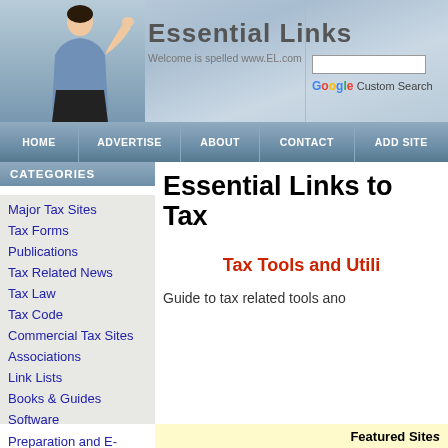Essential Links — Welcome is spelled www.EL.com
HOME | ADVERTISE | ABOUT | CONTACT | ADD SITE
CATEGORIES
Essential Links to Tax
Major Tax Sites
Tax Forms
Publications
Tax Related News
Tax Law
Tax Code
Commercial Tax Sites
Associations
Link Lists
Books & Guides
Software
Preparation and E-Filing
Tax Tools and Utilities
Guide to tax related tools and
Featured Sites